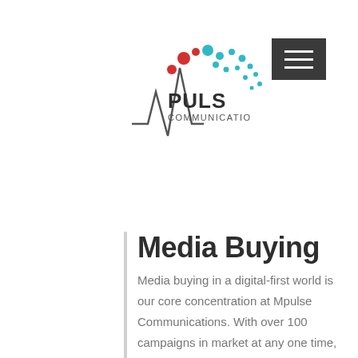[Figure (logo): Mpulse Communications logo with pulse line graphic and colorful dots above the text PULS COMMUNICATIO]
Media Buying
Media buying in a digital-first world is our core concentration at Mpulse Communications. With over 100 campaigns in market at any one time, our team continually takes the pulse of the marketplace. We're seeking the most attractive, efficient, and scalable media opportunities at all times. The choice of advertising options and strategies are seemingly unlimited. Display ads, video, social media, geo-targeting, first party data